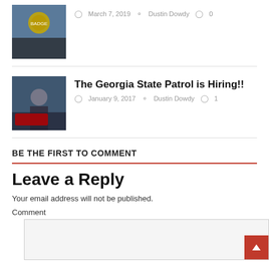[Figure (photo): Police badge thumbnail image]
March 7, 2019  Dustin Dowdy  0
[Figure (photo): Georgia State Patrol officer standing next to police car]
The Georgia State Patrol is Hiring!!
January 9, 2017  Dustin Dowdy  1
BE THE FIRST TO COMMENT
Leave a Reply
Your email address will not be published.
Comment